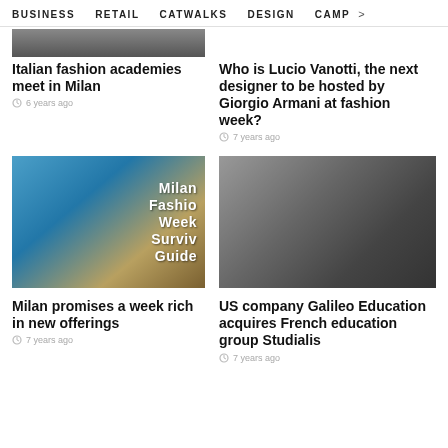BUSINESS  RETAIL  CATWALKS  DESIGN  CAMP >
[Figure (photo): Partial cropped photo at top of page, left column]
Italian fashion academies meet in Milan
6 years ago
Who is Lucio Vanotti, the next designer to be hosted by Giorgio Armani at fashion week?
7 years ago
[Figure (photo): Milan Fashion Week Survival Guide text over colorful background photo]
[Figure (photo): Black and white photo of people lying on grass]
Milan promises a week rich in new offerings
7 years ago
US company Galileo Education acquires French education group Studialis
7 years ago